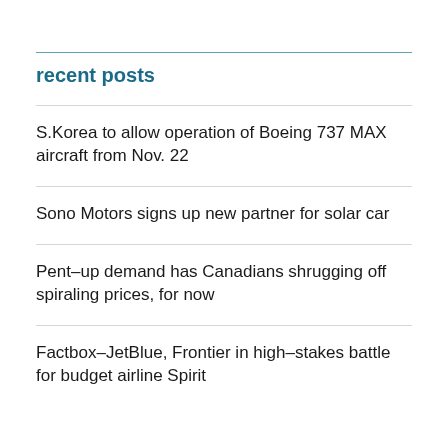recent posts
S.Korea to allow operation of Boeing 737 MAX aircraft from Nov. 22
Sono Motors signs up new partner for solar car
Pent–up demand has Canadians shrugging off spiraling prices, for now
Factbox–JetBlue, Frontier in high–stakes battle for budget airline Spirit